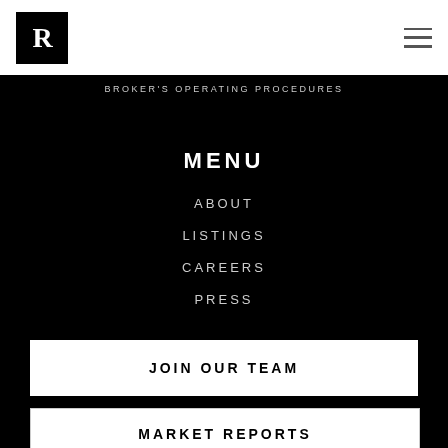[Figure (logo): Black square logo with white letter R in serif font]
BROKER'S OPERATING PROCEDURES
MENU
ABOUT
LISTINGS
CAREERS
PRESS
JOIN OUR TEAM
MARKET REPORTS